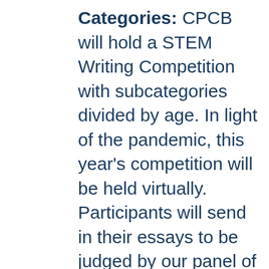Categories: CPCB will hold a STEM Writing Competition with subcategories divided by age. In light of the pandemic, this year's competition will be held virtually. Participants will send in their essays to be judged by our panel of Harvard-affiliated professors and CPCB